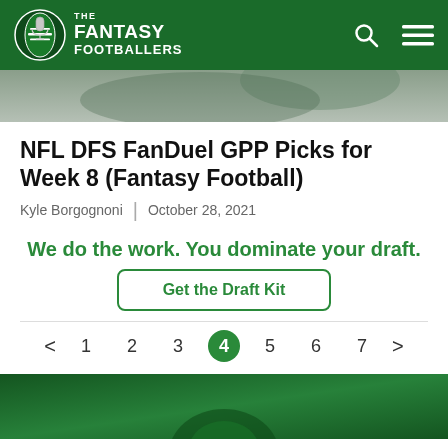The Fantasy Footballers
[Figure (photo): Partial image strip showing a person in a sports jersey, cropped at the top of the content area]
NFL DFS FanDuel GPP Picks for Week 8 (Fantasy Football)
Kyle Borgognoni | October 28, 2021
We do the work. You dominate your draft.
Get the Draft Kit
< 1 2 3 4 5 6 7 >
[Figure (photo): Bottom green image strip with partial logo/mascot visible]